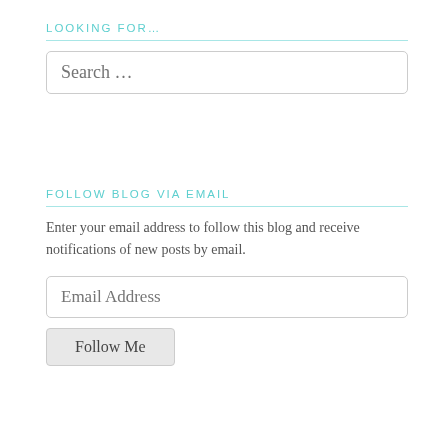LOOKING FOR…
[Figure (screenshot): Search input box with placeholder text 'Search …']
FOLLOW BLOG VIA EMAIL
Enter your email address to follow this blog and receive notifications of new posts by email.
[Figure (screenshot): Email address input box with placeholder text 'Email Address']
[Figure (screenshot): Button labeled 'Follow Me']